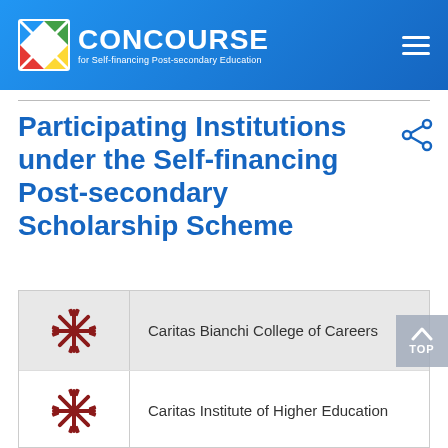CONCOURSE for Self-financing Post-secondary Education
Participating Institutions under the Self-financing Post-secondary Scholarship Scheme
| Logo | Institution |
| --- | --- |
| [Caritas logo] | Caritas Bianchi College of Careers |
| [Caritas logo] | Caritas Institute of Higher Education |